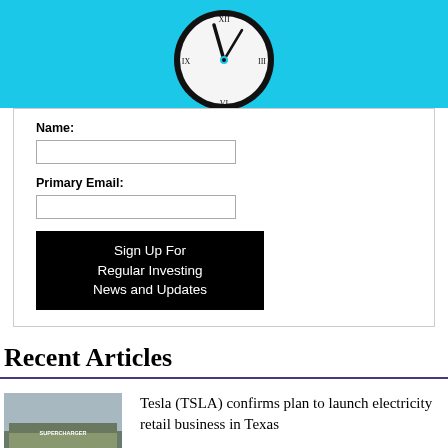[Figure (illustration): Clock illustration on cyan/turquoise background, showing an analog clock face with Roman numerals and clock hands]
Name:
Primary Email:
Sign Up For Regular Investing News and Updates
Recent Articles
[Figure (photo): Aerial photo of a Tesla facility/factory with 'SUPERCHARGER' text visible on the roof]
Tesla (TSLA) confirms plan to launch electricity retail business in Texas